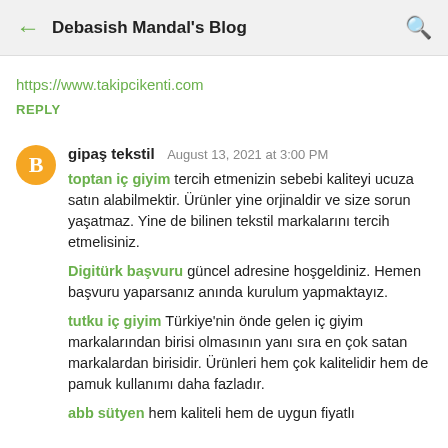Debasish Mandal's Blog
https://www.takipcikenti.com
REPLY
gipaş tekstil  August 13, 2021 at 3:00 PM
toptan iç giyim tercih etmenizin sebebi kaliteyi ucuza satın alabilmektir. Ürünler yine orjinaldir ve size sorun yaşatmaz. Yine de bilinen tekstil markalarını tercih etmelisiniz.
Digitürk başvuru güncel adresine hoşgeldiniz. Hemen başvuru yaparsanız anında kurulum yapmaktayız.
tutku iç giyim Türkiye'nin önde gelen iç giyim markalarından birisi olmasının yanı sıra en çok satan markalardan birisidir. Ürünleri hem çok kalitelidir hem de pamuk kullanımı daha fazladır.
abb sütyen hem kaliteli hem de uygun fiyatlı